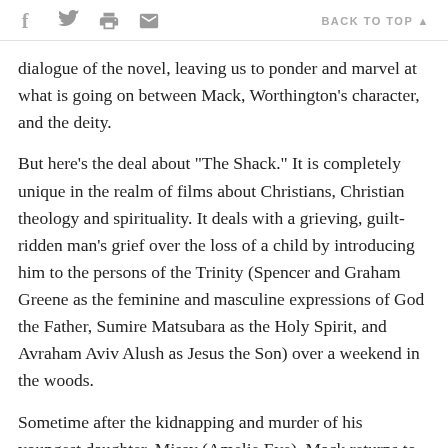f  [twitter]  [print]  [mail]   BACK TO TOP ▲
dialogue of the novel, leaving us to ponder and marvel at what is going on between Mack, Worthington's character, and the deity.
But here's the deal about "The Shack." It is completely unique in the realm of films about Christians, Christian theology and spirituality. It deals with a grieving, guilt-ridden man's grief over the loss of a child by introducing him to the persons of the Trinity (Spencer and Graham Greene as the feminine and masculine expressions of God the Father, Sumire Matsubara as the Holy Spirit, and Avraham Aviv Alush as Jesus the Son) over a weekend in the woods.
Sometime after the kidnapping and murder of his youngest daughter, Missy (Amelie Eve), Mack returns to the shack in the woods where her bloodstained little dress was found. He is determined to find the